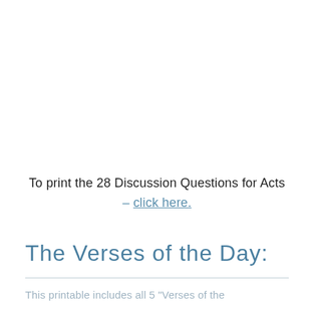To print the 28 Discussion Questions for Acts – click here.
The Verses of the Day:
This printable includes all 5 "Verses of the